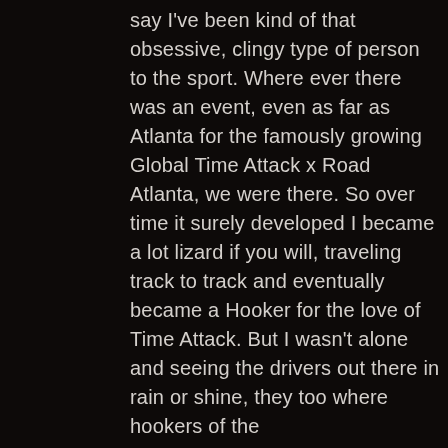say I've been kind of that obsessive, clingy type of person to the sport. Where ever there was an event, even as far as Atlanta for the famously growing Global Time Attack x Road Atlanta, we were there. So over time it surely developed I became a lot lizard if you will, traveling track to track and eventually became a Hooker for the love of Time Attack. But I wasn't alone and seeing the drivers out there in rain or shine, they too where hookers of the